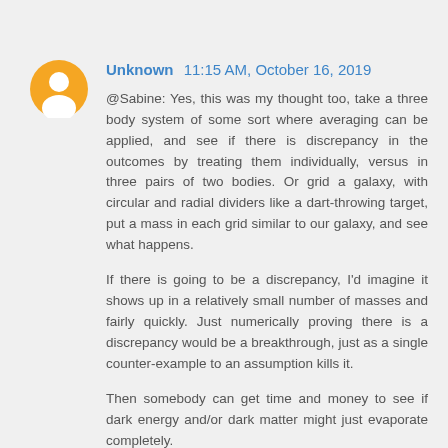[Figure (illustration): Orange circular avatar icon with a white blogger/person silhouette in the center]
Unknown 11:15 AM, October 16, 2019
@Sabine: Yes, this was my thought too, take a three body system of some sort where averaging can be applied, and see if there is discrepancy in the outcomes by treating them individually, versus in three pairs of two bodies. Or grid a galaxy, with circular and radial dividers like a dart-throwing target, put a mass in each grid similar to our galaxy, and see what happens.

If there is going to be a discrepancy, I'd imagine it shows up in a relatively small number of masses and fairly quickly. Just numerically proving there is a discrepancy would be a breakthrough, just as a single counter-example to an assumption kills it.

Then somebody can get time and money to see if dark energy and/or dark matter might just evaporate completely.